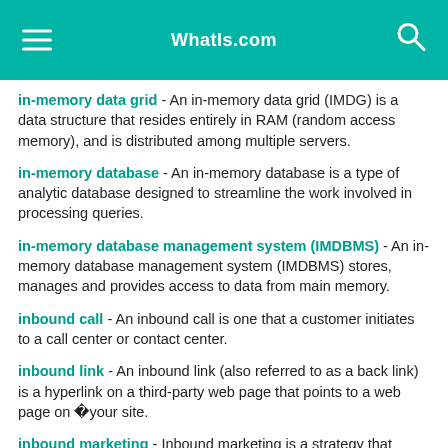WhatIs.com
in-memory data grid - An in-memory data grid (IMDG) is a data structure that resides entirely in RAM (random access memory), and is distributed among multiple servers.
in-memory database - An in-memory database is a type of analytic database designed to streamline the work involved in processing queries.
in-memory database management system (IMDBMS) - An in-memory database management system (IMDBMS) stores, manages and provides access to data from main memory.
inbound call - An inbound call is one that a customer initiates to a call center or contact center.
inbound link - An inbound link (also referred to as a back link) is a hyperlink on a third-party web page that points to a web page on �your site.
inbound marketing - Inbound marketing is a strategy that focuses on attracting customers, or leads, via company-created Internet content, thereby having potential customers come to the company rather than